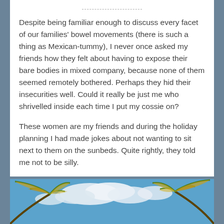Despite being familiar enough to discuss every facet of our families' bowel movements (there is such a thing as Mexican-tummy), I never once asked my friends how they felt about having to expose their bare bodies in mixed company, because none of them seemed remotely bothered. Perhaps they hid their insecurities well. Could it really be just me who shrivelled inside each time I put my cossie on?
These women are my friends and during the holiday planning I had made jokes about not wanting to sit next to them on the sunbeds. Quite rightly, they told me not to be silly.
[Figure (photo): Tropical scene with palm fronds and blue sky with clouds, viewed from below]